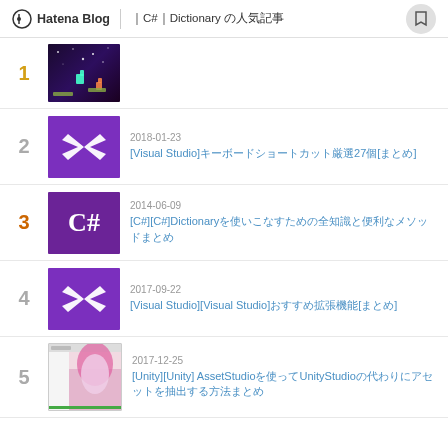Hatena Blog ｜C#｜Dictionary の人気記事
1 [game thumbnail]
2 2018-01-23 [Visual Studio]キーボードショートカット厳選27個[まとめ]
3 2014-06-09 [C#][C#]Dictionaryを使いこなすための全知識と便利なメソッドまとめ
4 2017-09-22 [Visual Studio][Visual Studio]おすすめ拡張機能[まとめ]
5 2017-12-25 [Unity][Unity] AssetStudioを使ってUnityStudioの代わりにアセットを抽出する方法まとめ